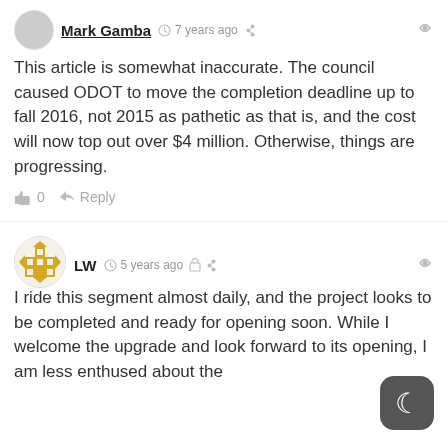Mark Gamba · 7 years ago
This article is somewhat inaccurate. The council caused ODOT to move the completion deadline up to fall 2016, not 2015 as pathetic as that is, and the cost will now top out over $4 million. Otherwise, things are progressing.
👍 0   ➤ Reply
LW · 5 years ago
I ride this segment almost daily, and the project looks to be completed and ready for opening soon. While I welcome the upgrade and look forward to its opening, I am less enthused about the